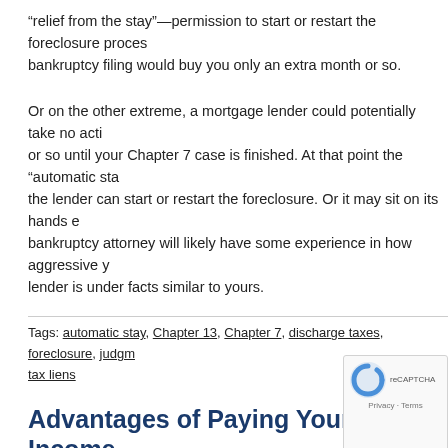“relief from the stay”—permission to start or restart the foreclosure process. bankruptcy filing would buy you only an extra month or so.
Or on the other extreme, a mortgage lender could potentially take no action or so until your Chapter 7 case is finished. At that point the “automatic stay” the lender can start or restart the foreclosure. Or it may sit on its hands even bankruptcy attorney will likely have some experience in how aggressive your lender is under facts similar to yours.
Tags: automatic stay, Chapter 13, Chapter 7, discharge taxes, foreclosure, judgment tax liens
Advantages of Paying Your 2018 Income Chapter 13
Posted by Kevin on January 21, 2019 under Bankruptcy Blog | Comments are
Say you owe $8000 on your 2018 federal taxes and have $18 under Chapter 7, you should discharge the $18,000 credit card $8000- and they will come after you.